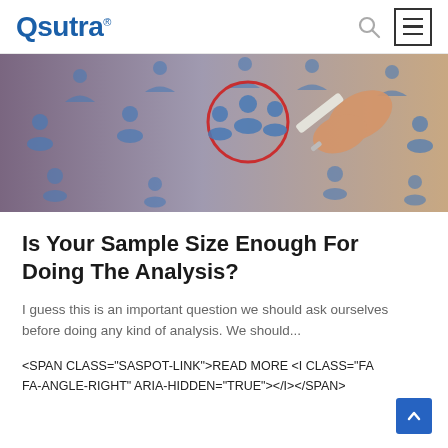Qsutra
[Figure (photo): A hand holding a white marker circling a group of blue person icons on a whiteboard, with many other person icons scattered around. Scene suggests selecting or targeting a sample group from a population.]
Is Your Sample Size Enough For Doing The Analysis?
I guess this is an important question we should ask ourselves before doing any kind of analysis. We should...
<SPAN CLASS="SASPOT-LINK">READ MORE <I CLASS="FA FA-ANGLE-RIGHT" ARIA-HIDDEN="TRUE"></I></SPAN>